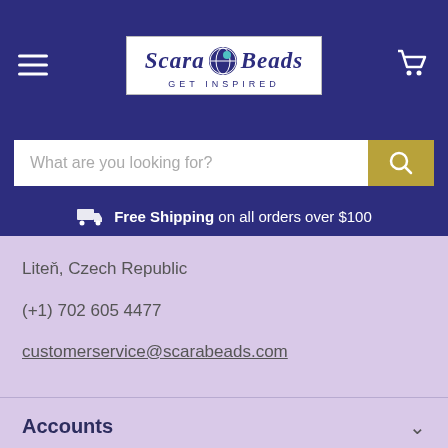Scara Beads - GET INSPIRED
What are you looking for?
Free Shipping on all orders over $100
Liteň, Czech Republic
(+1) 702 605 4477
customerservice@scarabeads.com
Accounts
Information
Support
This website uses cookies to ensure you get the best